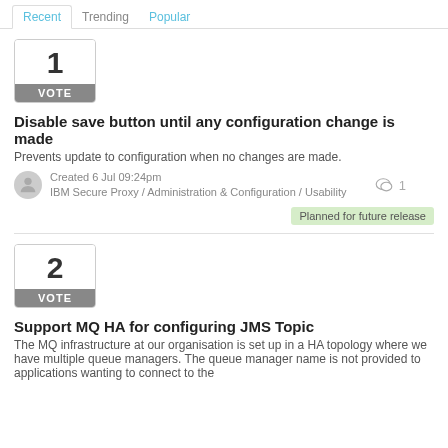Recent | Trending | Popular
[Figure (other): Vote box showing number 1 with VOTE label]
Disable save button until any configuration change is made
Prevents update to configuration when no changes are made.
Created 6 Jul 09:24pm
IBM Secure Proxy / Administration & Configuration / Usability
1 comment
Planned for future release
[Figure (other): Vote box showing number 2 with VOTE label]
Support MQ HA for configuring JMS Topic
The MQ infrastructure at our organisation is set up in a HA topology where we have multiple queue managers. The queue manager name is not provided to applications wanting to connect to the